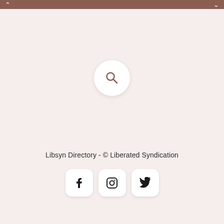[Figure (other): Search icon in a circular white button]
Libsyn Directory - © Liberated Syndication
[Figure (other): Social media icons: Facebook, Instagram, Twitter in rounded square buttons]